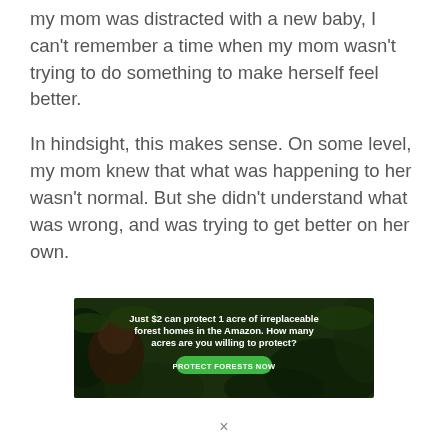my mom was distracted with a new baby, I can't remember a time when my mom wasn't trying to do something to make herself feel better.
In hindsight, this makes sense. On some level, my mom knew that what was happening to her wasn't normal. But she didn't understand what was wrong, and was trying to get better on her own.
[Figure (infographic): Advertisement banner with dark forest/jungle background showing an animal (orangutan). Text reads: 'Just $2 can protect 1 acre of irreplaceable forest homes in the Amazon. How many acres are you willing to protect?' with a green button labeled 'PROTECT FORESTS NOW']